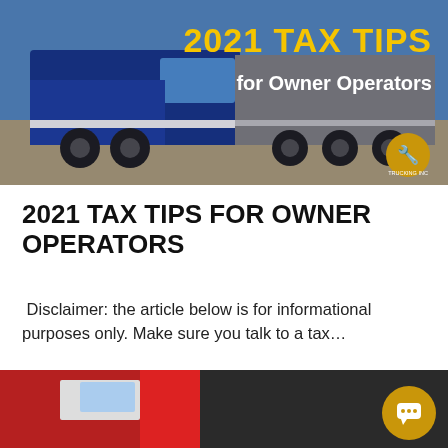[Figure (photo): Blue semi-truck on highway with yellow text overlay '2021 TAX TIPS' and white text 'for Owner Operators', with a circular logo in the bottom right corner]
2021 TAX TIPS FOR OWNER OPERATORS
Disclaimer: the article below is for informational purposes only. Make sure you talk to a tax…
Read More
[Figure (photo): Partial view of red and white truck cab from below, partially cropped at bottom of page]